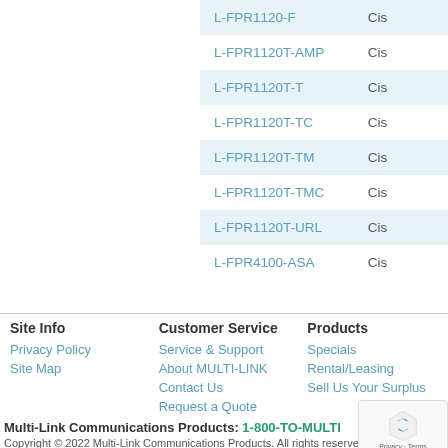| Product | Brand |
| --- | --- |
| L-FPR1120-F | Ci... |
| L-FPR1120T-AMP | Ci... |
| L-FPR1120T-T | Ci... |
| L-FPR1120T-TC | Ci... |
| L-FPR1120T-TM | Ci... |
| L-FPR1120T-TMC | Ci... |
| L-FPR1120T-URL | Ci... |
| L-FPR4100-ASA | Ci... |
Site Info
Privacy Policy
Site Map
Customer Service
Service & Support
About MULTI-LINK
Contact Us
Request a Quote
Products
Specials
Rental/Leasing
Sell Us Your Surplus
Multi-Link Communications Products: 1-800-TO-MULTI
Copyright © 2022 Multi-Link Communications Products. All rights reserved. NS2016